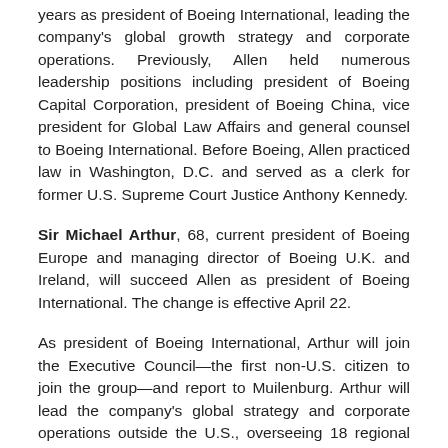years as president of Boeing International, leading the company's global growth strategy and corporate operations. Previously, Allen held numerous leadership positions including president of Boeing Capital Corporation, president of Boeing China, vice president for Global Law Affairs and general counsel to Boeing International. Before Boeing, Allen practiced law in Washington, D.C. and served as a clerk for former U.S. Supreme Court Justice Anthony Kennedy.
Sir Michael Arthur, 68, current president of Boeing Europe and managing director of Boeing U.K. and Ireland, will succeed Allen as president of Boeing International. The change is effective April 22.
As president of Boeing International, Arthur will join the Executive Council—the first non-U.S. citizen to join the group—and report to Muilenburg. Arthur will lead the company's global strategy and corporate operations outside the U.S., overseeing 18 regional offices in key global markets. Arthur will maintain offices in London and Arlington, Va.
"Sir Michael Arthur is a leading voice on international issues and has been key to helping Boeing become a more global company in recent years," Muilenburg said. "Leveraging insights and relationships that he's developed over decades, Sir Michael's